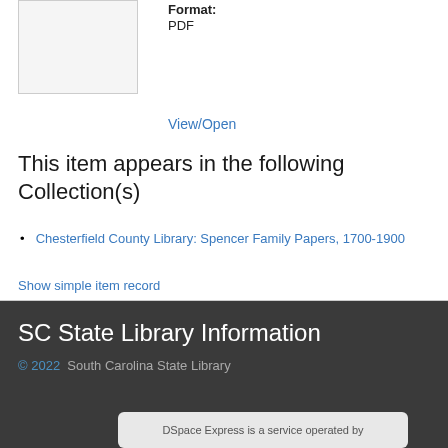[Figure (other): Thumbnail placeholder image with light gray background and border]
Format: PDF
View/Open
This item appears in the following Collection(s)
Chesterfield County Library: Spencer Family Papers, 1700-1900
Show simple item record
SC State Library Information
© 2022  South Carolina State Library
DSpace Express is a service operated by